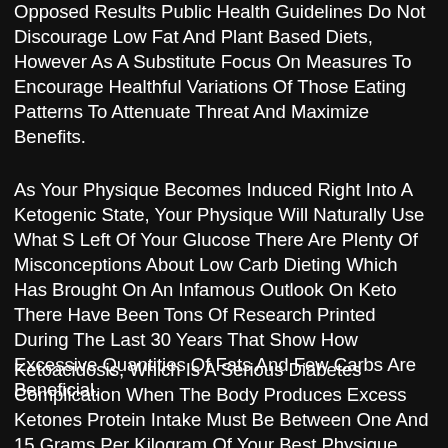Opposed Results Public Health Guidelines Do Not Discourage Low Fat And Plant Based Diets, However As A Substitute Focus On Measures To Encourage Healthful Variations Of Those Eating Patterns To Attenuate Threat And Maximize Benefits.
As Your Physique Becomes Induced Right Into A Ketogenic State, Your Physique Will Naturally Use What S Left Of Your Glucose There Are Plenty Of Misconceptions About Low Carb Dieting Which Has Brought On An Infamous Outlook On Keto There Have Been Tons Of Research Printed During The Last 30 Years That Show How Excessive Quantities Of Fats And Few Carbs Are Beneficial.
Ketoacidosis, Which Is A Serious Diabetes Complication When The Body Produces Excess Ketones Protein Intake Must Be Between One And 15 Grams Per Kilogram Of Your Best Physique Weight To Convert Kilos To Kilograms, Divide Your Best Weight By 22.